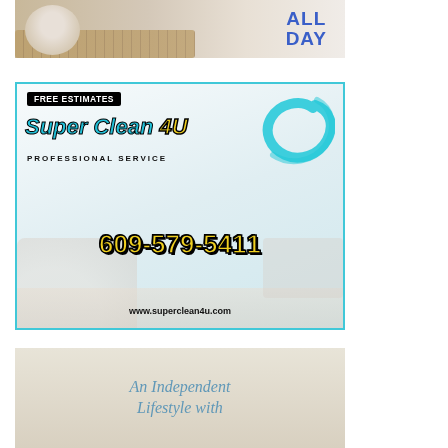[Figure (illustration): Top advertisement banner showing a decorative bowl on a bamboo mat with text 'ALL DAY' in blue on the right side]
[Figure (illustration): Super Clean 4U professional cleaning service advertisement with cyan swirl logo, text 'FREE ESTIMATES', brand name 'Super Clean 4U', 'PROFESSIONAL SERVICE', phone number '609-579-5411' in yellow, and website 'www.superclean4u.com'. Background shows a blurred living room interior.]
[Figure (illustration): Partial bottom advertisement for 'An Independent Lifestyle with' on a beige/cream background]